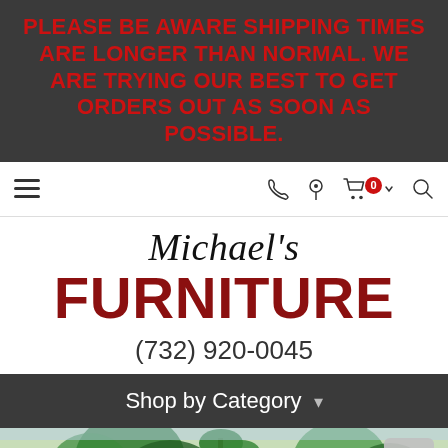PLEASE BE AWARE SHIPPING TIMES ARE LONGER THAN NORMAL. WE ARE TRYING OUR BEST TO GET ORDERS OUT AS SOON AS POSSIBLE.
[Figure (screenshot): Navigation bar with hamburger menu icon on left, and phone, location, cart (badge 0), and search icons on the right]
[Figure (logo): Michael's Furniture logo: italic serif 'Michael's' above bold dark red sans-serif 'FURNITURE' with phone number (732) 920-0045 below]
Shop by Category ▾
[Figure (photo): Partial outdoor scene with trees, sky visible at bottom of page, with a back-to-top button (chevron up) in the lower right]